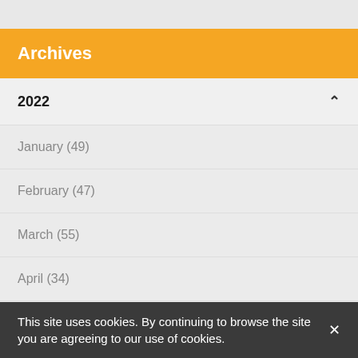Archives
2022
January (49)
February (47)
March (55)
April (34)
May (35)
This site uses cookies. By continuing to browse the site you are agreeing to our use of cookies.